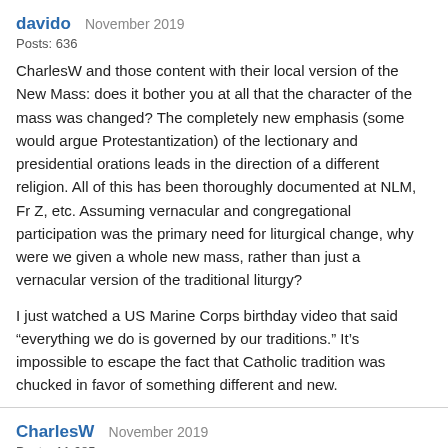davido  November 2019
Posts: 636
CharlesW and those content with their local version of the New Mass: does it bother you at all that the character of the mass was changed? The completely new emphasis (some would argue Protestantization) of the lectionary and presidential orations leads in the direction of a different religion. All of this has been thoroughly documented at NLM, Fr Z, etc. Assuming vernacular and congregational participation was the primary need for liturgical change, why were we given a whole new mass, rather than just a vernacular version of the traditional liturgy?
I just watched a US Marine Corps birthday video that said “everything we do is governed by our traditions.” It’s impossible to escape the fact that Catholic tradition was chucked in favor of something different and new.
CharlesW  November 2019
Posts: 11,685
I don't see all those supposed differences. Yes, the priest faces a different direction. Hardly earth shattering since TLM priests often face west rather than east as tradition actually calls for. Facing the tabernacle. Putting tabernacles on the altar is a post-Trent innovation that even the Vatican opposed for some time after the council ended. I still hear the Roman Canon every Sunday in English. Language is not a hill to die on and it is